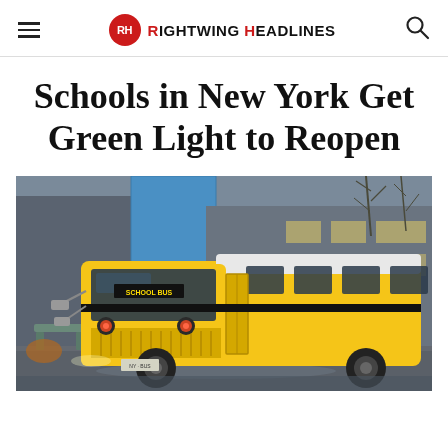RIGHTWING HEADLINES
Schools in New York Get Green Light to Reopen
[Figure (photo): A yellow school bus parked or driving on a wet road in front of a building on a grey, rainy day. The bus is labeled 'SCHOOL BUS' on the front. Bare trees are visible in the background.]